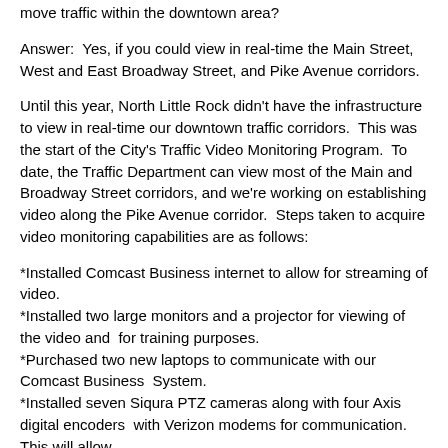move traffic within the downtown area?
Answer:  Yes, if you could view in real-time the Main Street, West and East Broadway Street, and Pike Avenue corridors.
Until this year, North Little Rock didn't have the infrastructure to view in real-time our downtown traffic corridors.  This was the start of the City's Traffic Video Monitoring Program.  To date, the Traffic Department can view most of the Main and Broadway Street corridors, and we're working on establishing video along the Pike Avenue corridor.  Steps taken to acquire video monitoring capabilities are as follows:
*Installed Comcast Business internet to allow for streaming of video.
*Installed two large monitors and a projector for viewing of the video and  for training purposes.
*Purchased two new laptops to communicate with our Comcast Business  System.
*Installed seven Siqura PTZ cameras along with four Axis digital encoders  with Verizon modems for communication. This will allow